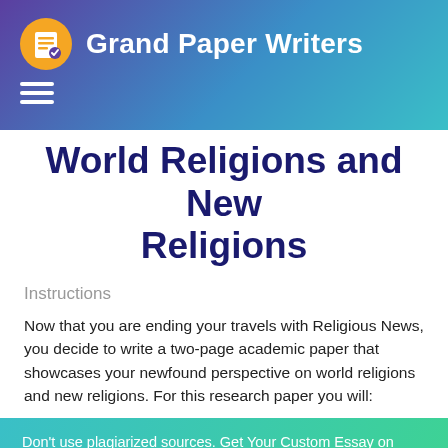Grand Paper Writers
World Religions and New Religions
Instructions
Now that you are ending your travels with Religious News, you decide to write a two-page academic paper that showcases your newfound perspective on world religions and new religions. For this research paper you will:
Don't use plagiarized sources. Get Your Custom Essay on
Newfound Perspective on World Religions and New Religions